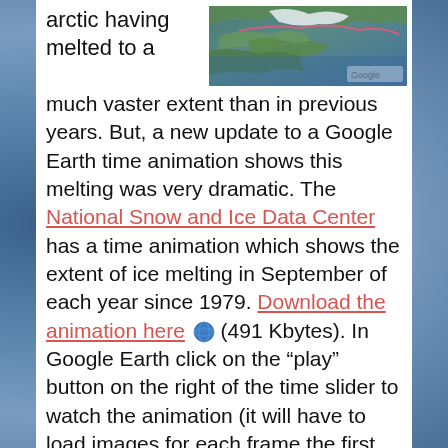arctic having melted to a
[Figure (photo): Satellite map image of the Arctic region showing sea ice extent, with a pink/red line marking, Google watermark visible in corner.]
much vaster extent than in previous years. But, a new update to a Google Earth time animation shows this melting was very dramatic. The National Snow and Ice Data Center has a time animation which shows the extent of ice melting in September of each year since 1979. Download the animation here (491 Kbytes). In Google Earth click on the "play" button on the right of the time slider to watch the animation (it will have to load images for each frame the first time through). You can see the melting gets worse in the last few years, but in 2007 the change was dramatic. They also have an animation showing the daily sea ice concentration summer of 2007 (612 KBytes).
The National Snow and Ice Data Center has some of